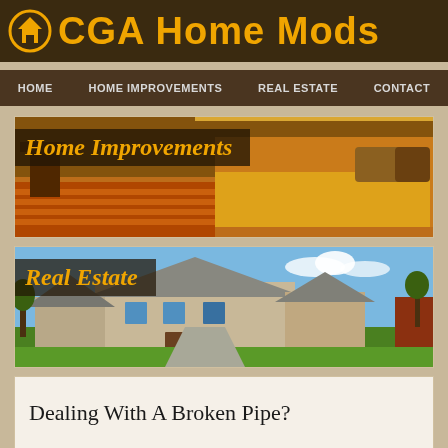CGA Home Mods
HOME | HOME IMPROVEMENTS | REAL ESTATE | CONTACT
[Figure (photo): Bedroom interior with warm orange lighting and a bed with yellow bedding, overlaid with 'Home Improvements' text label]
[Figure (photo): Exterior of a large stone suburban house with green lawn and blue sky, overlaid with 'Real Estate' text label]
Dealing With A Broken Pipe?